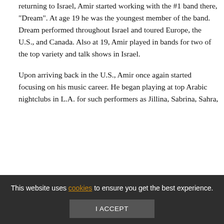returning to Israel, Amir started working with the #1 band there, "Dream". At age 19 he was the youngest member of the band. Dream performed throughout Israel and toured Europe, the U.S., and Canada. Also at 19, Amir played in bands for two of the top variety and talk shows in Israel.
Upon arriving back in the U.S., Amir once again started focusing on his music career. He began playing at top Arabic nightclubs in L.A. for such performers as Jillina, Sabrina, Sahra,
This website uses cookies to ensure you get the best experience.